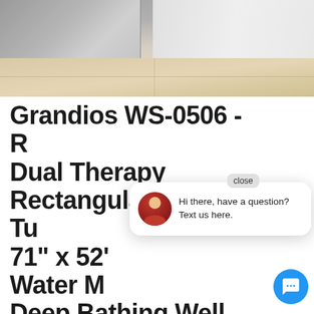[Figure (photo): Bottom portion of white appliances (washer/dryer units) sitting on beige/tan tile floor, photo cropped to show base of machines and floor area.]
Grandios WS-0506 - R Dual Therapy Rectangular Jetted Tu 71" x 52' Water M Deep Bathing Well, 12 Whirlpool Jets, 5 Year Limited Warranty